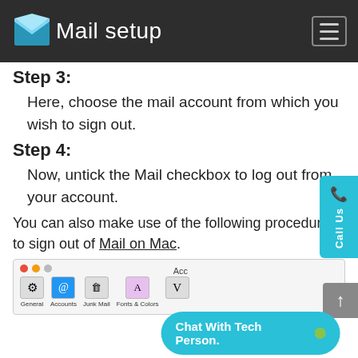Mail setup
Step 3:
Here, choose the mail account from which you wish to sign out.
Step 4:
Now, untick the Mail checkbox to log out from your account.
You can also make use of the following procedure to sign out of Mail on Mac.
[Figure (screenshot): Screenshot of Mac Mail application preferences window showing toolbar icons: General, Accounts, Junk Mail, Fonts & Colors, and a partially visible icon.]